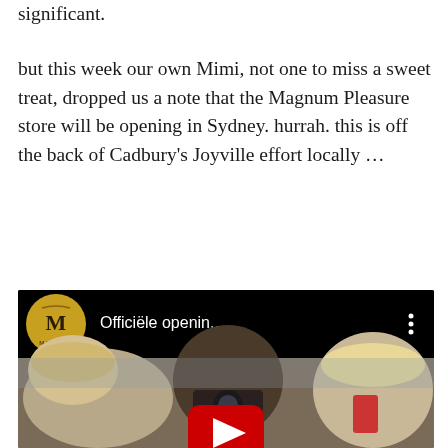significant.
but this week our own Mimi, not one to miss a sweet treat, dropped us a note that the Magnum Pleasure store will be opening in Sydney. hurrah. this is off the back of Cadbury's Joyville effort locally …
[Figure (screenshot): YouTube video embed showing Magnum ice cream brand logo and title 'Officiële openin...' with a thumbnail of people at what appears to be a store opening event, with a red YouTube play button overlay.]